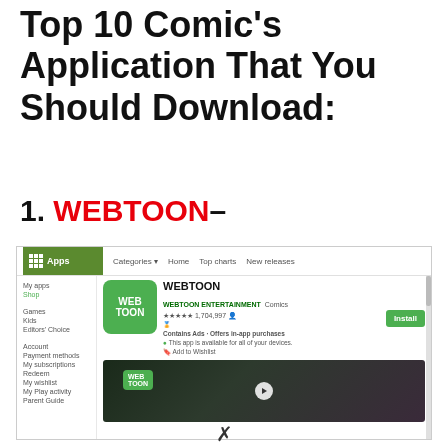Top 10 Comic's Application That You Should Download:
1. WEBTOON–
[Figure (screenshot): Google Play Store screenshot showing the WEBTOON app listing page with sidebar navigation, app icon, name, developer info, star ratings, install button, and a promotional banner image.]